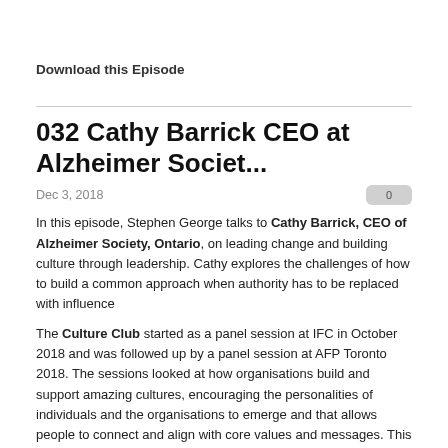Download this Episode
032 Cathy Barrick CEO at Alzheimer Societ...
Dec 3, 2018
In this episode, Stephen George talks to Cathy Barrick, CEO of Alzheimer Society, Ontario, on leading change and building culture through leadership. Cathy explores the challenges of how to build a common approach when authority has to be replaced with influence
The Culture Club started as a panel session at IFC in October 2018 and was followed up by a panel session at AFP Toronto 2018. The sessions looked at how organisations build and support amazing cultures, encouraging the personalities of individuals and the organisations to emerge and that allows people to connect and align with core values and messages. This series on the Good Leaders Podcast continues that exploration, looking at the barriers and opportunities in a great culture, how power can make or break a culture, the impacts on fundraising, how brand can help or hinder, on aspiration, the behaviours needed and how to build a place where the culture becomes the